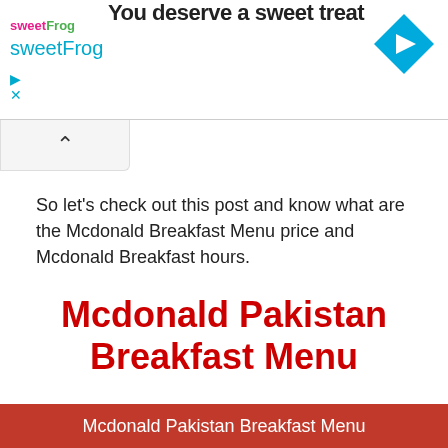[Figure (screenshot): sweetFrog advertisement banner with logo, 'You deserve a sweet treat' text, navigation arrow icon, and play/close controls]
So let's check out this post and know what are the Mcdonald Breakfast Menu price and Mcdonald Breakfast hours.
Mcdonald Pakistan Breakfast Menu
Mcdonald Pakistan Breakfast Menu